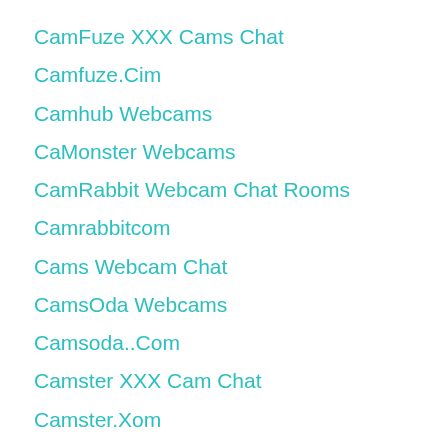CamFuze XXX Cams Chat
Camfuze.Cim
Camhub Webcams
CaMonster Webcams
CamRabbit Webcam Chat Rooms
Camrabbitcom
Cams Webcam Chat
CamsOda Webcams
Camsoda..Com
Camster XXX Cam Chat
Camster.Xom
Camsterr